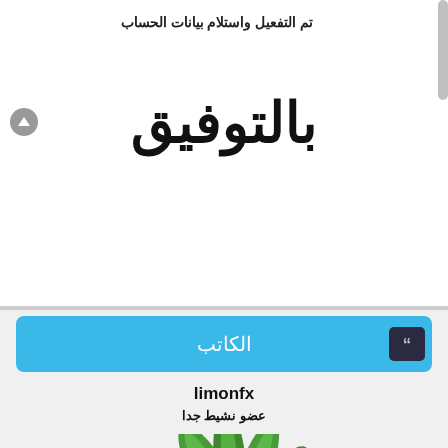تم التفعيل واستلام بيانات الحساب
بالتوفيق
الكاتب
limonfx
عضو نشيط جدا
[Figure (illustration): Lemons with mint leaves — two whole lemons and one cut lemon half showing the inner flesh and segments, with a cluster of green mint leaves above]